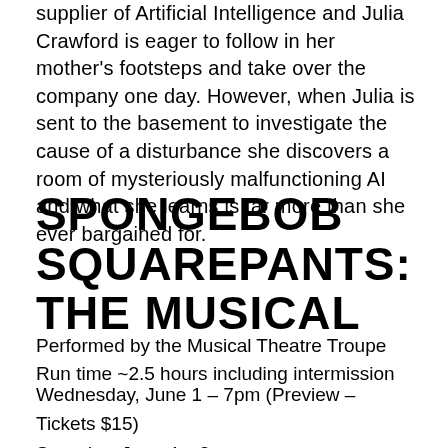supplier of Artificial Intelligence and Julia Crawford is eager to follow in her mother's footsteps and take over the company one day. However, when Julia is sent to the basement to investigate the cause of a disturbance she discovers a room of mysteriously malfunctioning AI and what she learns is far more than she ever bargained for.
SPONGEBOB SQUAREPANTS: THE MUSICAL
Performed by the Musical Theatre Troupe
Run time ~2.5 hours including intermission
Wednesday, June 1 – 7pm (Preview – Tickets $15)
Saturday, June 4 – 2pm
Saturday, June 4 – 7pm
Sunday, June 5 – 7pm
Thursday, June 9 – 7...